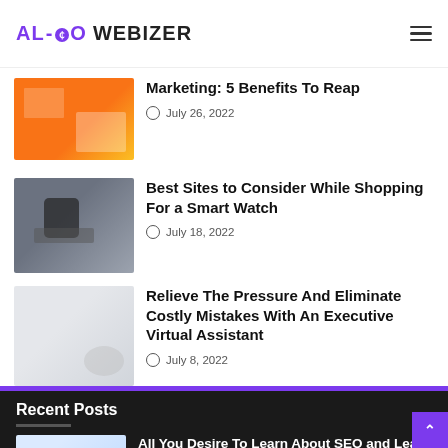AL-CO WEBIZER
Marketing: 5 Benefits To Reap
July 26, 2022
Best Sites to Consider While Shopping For a Smart Watch
July 18, 2022
Relieve The Pressure And Eliminate Costly Mistakes With An Executive Virtual Assistant
July 8, 2022
Recent Posts
All You Desire To Learn About SEO and Lead Generation